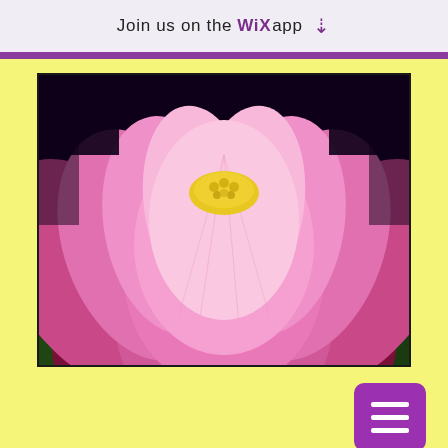Join us on the WiX app ⬇
[Figure (photo): Close-up photograph of a pink lotus flower in bloom with yellow center, against a dark background]
( 2 ) The Americas
Well-organized civilizations and tribes existed throughout the Americas for thousands of years prior to their